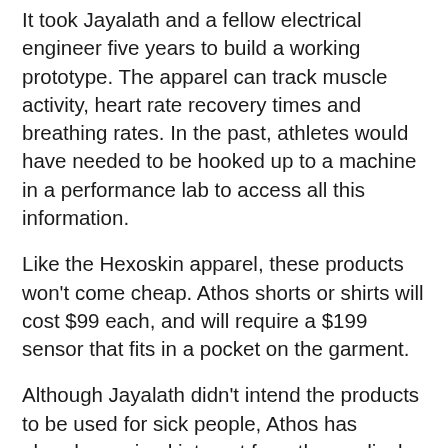It took Jayalath and a fellow electrical engineer five years to build a working prototype. The apparel can track muscle activity, heart rate recovery times and breathing rates. In the past, athletes would have needed to be hooked up to a machine in a performance lab to access all this information.
Like the Hexoskin apparel, these products won't come cheap. Athos shorts or shirts will cost $99 each, and will require a $199 sensor that fits in a pocket on the garment.
Although Jayalath didn't intend the products to be used for sick people, Athos has already received interest from the medical community.
The company anticipates that its clothing will eventually be used in clinical settings such as hospitals and rehabilitation clinics. Smart clothing could benefit patients with a variety of medical